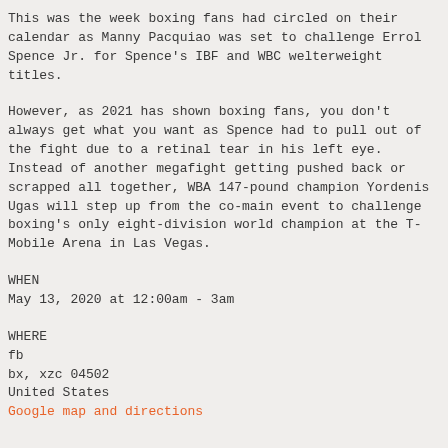This was the week boxing fans had circled on their calendar as Manny Pacquiao was set to challenge Errol Spence Jr. for Spence's IBF and WBC welterweight titles.
However, as 2021 has shown boxing fans, you don't always get what you want as Spence had to pull out of the fight due to a retinal tear in his left eye. Instead of another megafight getting pushed back or scrapped all together, WBA 147-pound champion Yordenis Ugas will step up from the co-main event to challenge boxing's only eight-division world champion at the T-Mobile Arena in Las Vegas.
WHEN
May 13, 2020 at 12:00am - 3am
WHERE
fb
bx, xzc 04502
United States
Google map and directions